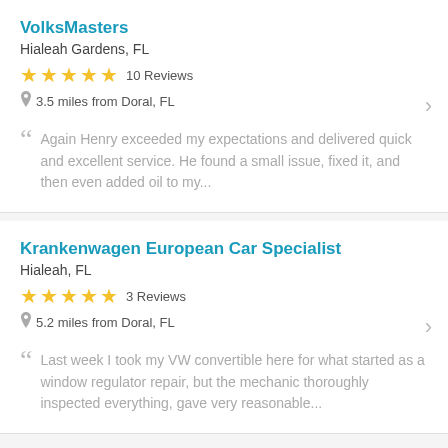VolksMasters
Hialeah Gardens, FL
★★★★★ 10 Reviews
3.5 miles from Doral, FL
Again Henry exceeded my expectations and delivered quick and excellent service. He found a small issue, fixed it, and then even added oil to my...
Krankenwagen European Car Specialist
Hialeah, FL
★★★★★ 3 Reviews
5.2 miles from Doral, FL
Last week I took my VW convertible here for what started as a window regulator repair, but the mechanic thoroughly inspected everything, gave very reasonable...